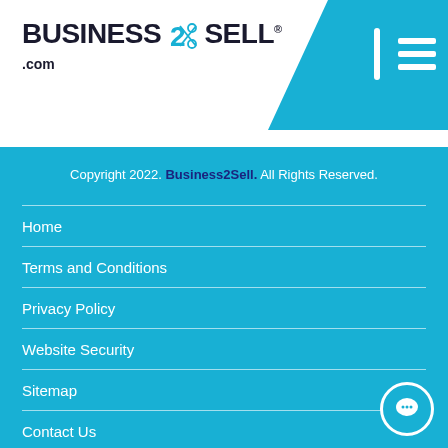[Figure (logo): Business2Sell.com logo with scissors icon in teal/dark color scheme]
Business2Sell.com
Copyright 2022. Business2Sell. All Rights Reserved.
Home
Terms and Conditions
Privacy Policy
Website Security
Sitemap
Contact Us